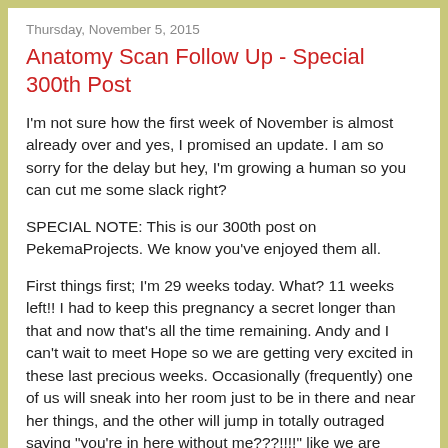Thursday, November 5, 2015
Anatomy Scan Follow Up - Special 300th Post
I'm not sure how the first week of November is almost already over and yes, I promised an update. I am so sorry for the delay but hey, I'm growing a human so you can cut me some slack right?
SPECIAL NOTE: This is our 300th post on PekemaProjects. We know you've enjoyed them all.
First things first; I'm 29 weeks today. What? 11 weeks left!! I had to keep this pregnancy a secret longer than that and now that's all the time remaining. Andy and I can't wait to meet Hope so we are getting very excited in these last precious weeks. Occasionally (frequently) one of us will sneak into her room just to be in there and near her things, and the other will jump in totally outraged saying "you're in here without me???!!!!" like we are missing out. It's amazing how much her room feels like her space, it feels special and